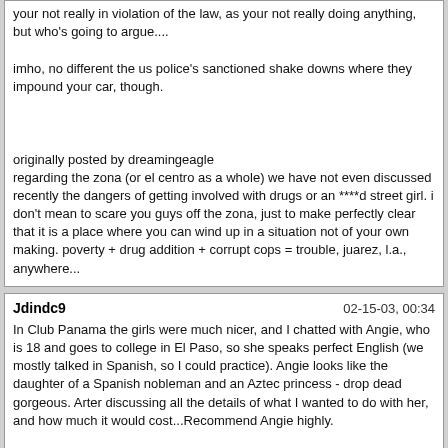your not really in violation of the law, as your not really doing anything, but who's going to argue....

imho, no different the us police's sanctioned shake downs where they impound your car, though.

originally posted by dreamingeagle
regarding the zona (or el centro as a whole) we have not even discussed recently the dangers of getting involved with drugs or an ****d street girl. i don't mean to scare you guys off the zona, just to make perfectly clear that it is a place where you can wind up in a situation not of your own making. poverty + drug addition + corrupt cops = trouble, juarez, l.a., anywhere...
Jdindc9
02-15-03, 00:34
In Club Panama the girls were much nicer, and I chatted with Angie, who is 18 and goes to college in El Paso, so she speaks perfect English (we mostly talked in Spanish, so I could practice). Angie looks like the daughter of a Spanish nobleman and an Aztec princess - drop dead gorgeous. Arter discussing all the details of what I wanted to do with her, and how much it would cost...Recommend Angie highly.

I did not go with Angie, but met her and he is correct she is very beautiful and worth asking for by name.
Jdindc9
02-15-03, 00:40
Originally posted by DreamingEagle
I have a page on my Juarez Tour Guide about the Hotel Villa Manport he recommended which will give you a good idea of what to expect.
http://www.juareztourguide.com/html/hotelvm.HTM